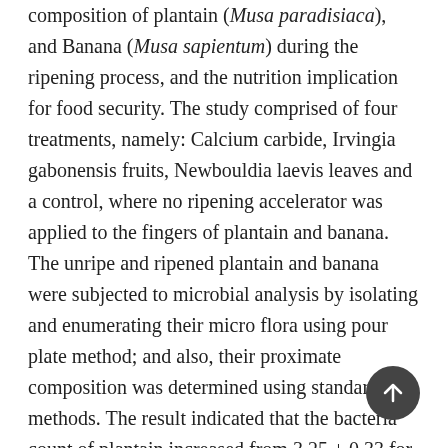composition of plantain (Musa paradisiaca), and Banana (Musa sapientum) during the ripening process, and the nutrition implication for food security. The study comprised of four treatments, namely: Calcium carbide, Irvingia gabonensis fruits, Newbouldia laevis leaves and a control, where no ripening accelerator was applied to the fingers of plantain and banana. The unripe and ripened plantain and banana were subjected to microbial analysis by isolating and enumerating their micro flora using pour plate method; and also, their proximate composition was determined using standard methods. The result indicated that the bacteria count of plantain increased from 3.25 ± 0.33 for unripe to 5.31 ± 0.30 log cfu/g for (treated) ripened, and that of banana increased from 3.69 ± 0.11 for unripe to 5.26 ± 0.21 log cfu/g for ripened. Also, the fungal count of plantain increased from 3.20 ± 0.16 for unripe to 4.88 ± 0.22 log sfu/g for